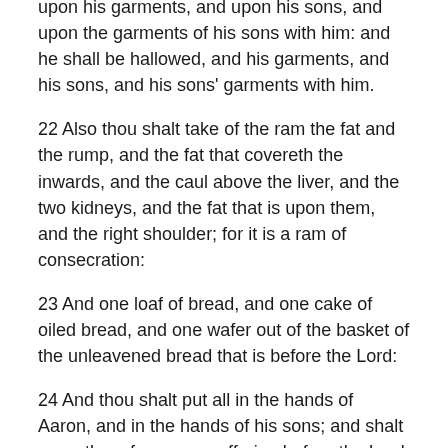upon his garments, and upon his sons, and upon the garments of his sons with him: and he shall be hallowed, and his garments, and his sons, and his sons' garments with him.
22 Also thou shalt take of the ram the fat and the rump, and the fat that covereth the inwards, and the caul above the liver, and the two kidneys, and the fat that is upon them, and the right shoulder; for it is a ram of consecration:
23 And one loaf of bread, and one cake of oiled bread, and one wafer out of the basket of the unleavened bread that is before the Lord:
24 And thou shalt put all in the hands of Aaron, and in the hands of his sons; and shalt wave them for a wave offering before the Lord.